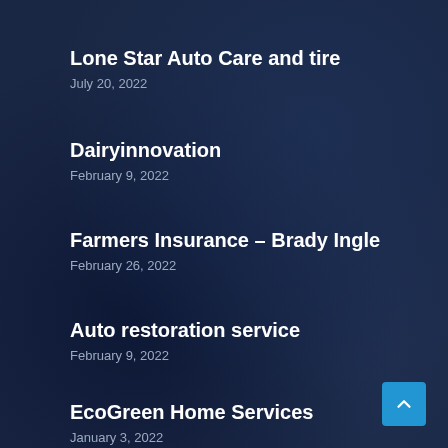Lone Star Auto Care and tire
July 20, 2022
Dairyinnovation
February 9, 2022
Farmers Insurance – Brady Ingle
February 26, 2022
Auto restoration service
February 9, 2022
EcoGreen Home Services
January 3, 2022